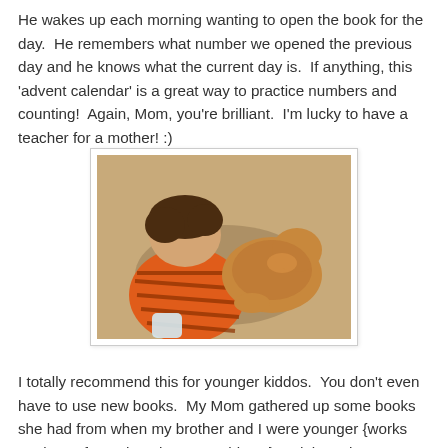He wakes up each morning wanting to open the book for the day.  He remembers what number we opened the previous day and he knows what the current day is.  If anything, this 'advent calendar' is a great way to practice numbers and counting!  Again, Mom, you're brilliant.  I'm lucky to have a teacher for a mother! :)
[Figure (photo): A young boy in an orange striped shirt leaning over and touching/petting a tan/brown cat on a carpeted floor, viewed from above.]
I totally recommend this for younger kiddos.  You don't even have to use new books.  My Mom gathered up some books she had from when my brother and I were younger {works out in my favor that she saves things!} and then she purchased a few at the book fair at her school.